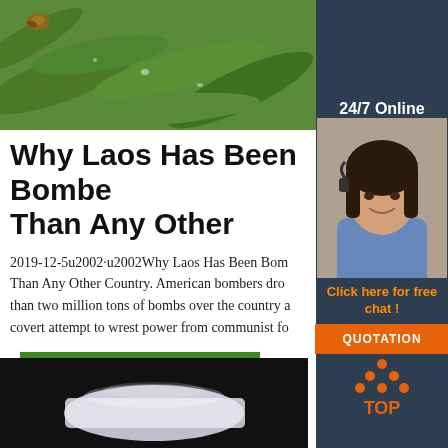[Figure (photo): Green leaves with water droplets and a snail, top portion of the page]
[Figure (photo): Customer service agent (woman with headset) in sidebar with 24/7 Online label]
Why Laos Has Been Bombed More Than Any Other
2019-12-5u2002·u2002Why Laos Has Been Bombed More Than Any Other Country. American bombers dropped more than two million tons of bombs over the country as a covert attempt to wrest power from communist fo...
[Figure (other): Green Get Price button]
[Figure (other): Orange TOP icon in sidebar bottom]
[Figure (photo): Bottom image showing a white plastic bag on dark background]